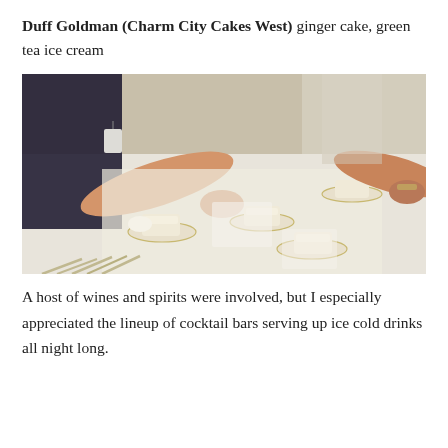Duff Goldman (Charm City Cakes West) ginger cake, green tea ice cream
[Figure (photo): Photo of a white-draped table with multiple plates of cake slices and ice cream being served. People's hands and arms are visible reaching across the table. Silverware is visible in the foreground.]
A host of wines and spirits were involved, but I especially appreciated the lineup of cocktail bars serving up ice cold drinks all night long.